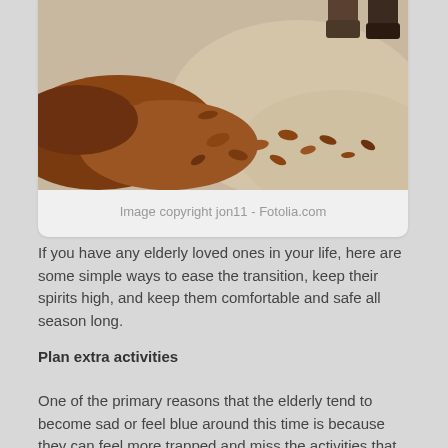[Figure (photo): Photo of autumn leaves scattered on a path, with people's feet visible at the top of the frame. Image credit: jon11 - Fotolia.com]
Image copyright jon11 - Fotolia.com
If you have any elderly loved ones in your life, here are some simple ways to ease the transition, keep their spirits high, and keep them comfortable and safe all season long.
Plan extra activities
One of the primary reasons that the elderly tend to become sad or feel blue around this time is because they can feel more trapped and miss the activities that